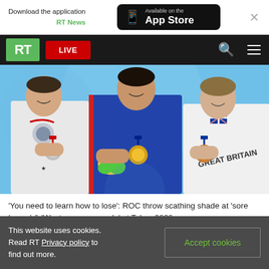[Figure (screenshot): App download banner: 'Download the application RT News' with App Store button and close X]
[Figure (screenshot): RT website navigation bar with green RT logo, red LIVE button, search and menu icons]
[Figure (photo): Three Olympic swimmers on podium holding medals — ROC (gold, center), USA (silver, left), Great Britain (bronze, right)]
'You need to learn how to lose': ROC throw scathing shade at 'sore losers' & 'Western propaganda' at Tokyo 2020
This website uses cookies. Read RT Privacy policy to find out more.
Accept cookies